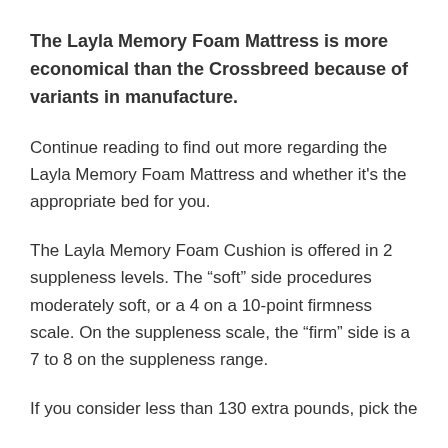The Layla Memory Foam Mattress is more economical than the Crossbreed because of variants in manufacture.
Continue reading to find out more regarding the Layla Memory Foam Mattress and whether it's the appropriate bed for you.
The Layla Memory Foam Cushion is offered in 2 suppleness levels. The “soft” side procedures moderately soft, or a 4 on a 10-point firmness scale. On the suppleness scale, the “firm” side is a 7 to 8 on the suppleness range.
If you consider less than 130 extra pounds, pick the